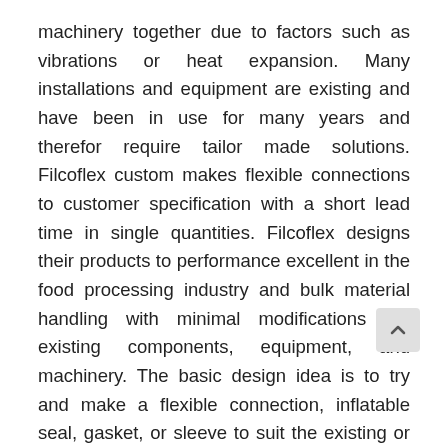machinery together due to factors such as vibrations or heat expansion. Many installations and equipment are existing and have been in use for many years and therefor require tailor made solutions. Filcoflex custom makes flexible connections to customer specification with a short lead time in single quantities. Filcoflex designs their products to performance excellent in the food processing industry and bulk material handling with minimal modifications the existing components, equipment, and machinery. The basic design idea is to try and make a flexible connection, inflatable seal, gasket, or sleeve to suit the existing or newly designed equipment without the need for any special or expensive ancillary components or accessories.
To connect the custom-made products of Filcoflex ancillary components are required. Most these ancillary components are standardized accessories